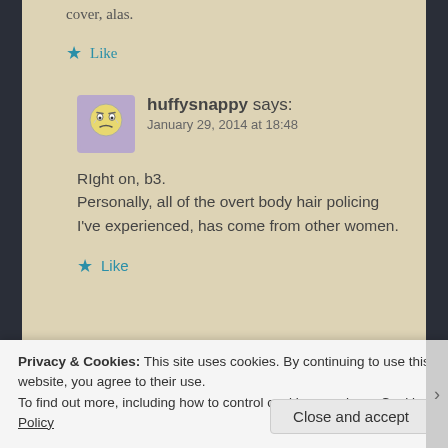cover, alas.
★ Like
huffysnappy says:
January 29, 2014 at 18:48
RIght on, b3.
Personally, all of the overt body hair policing I've experienced, has come from other women.
★ Like
Privacy & Cookies: This site uses cookies. By continuing to use this website, you agree to their use.
To find out more, including how to control cookies, see here: Cookie Policy
Close and accept